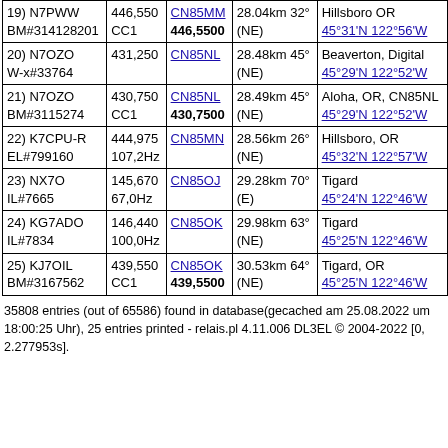| Call / ID | Freq / Tone | Grid | Distance | Location |
| --- | --- | --- | --- | --- |
| 19) N7PWW
BM#314128201 | 446,550
CC1 | CN85MM
446,5500 | 28.04km 32°
(NE) | Hillsboro OR
45°31'N 122°56'W |
| 20) N7OZO
W-x#33764 | 431,250 | CN85NL | 28.48km 45°
(NE) | Beaverton, Digital
45°29'N 122°52'W |
| 21) N7OZO
BM#3115274 | 430,750
CC1 | CN85NL
430,7500 | 28.49km 45°
(NE) | Aloha, OR, CN85NL
45°29'N 122°52'W |
| 22) K7CPU-R
EL#799160 | 444,975
107,2Hz | CN85MN | 28.56km 26°
(NE) | Hillsboro, OR
45°32'N 122°57'W |
| 23) NX7O
IL#7665 | 145,670
67,0Hz | CN85OJ | 29.28km 70°
(E) | Tigard
45°24'N 122°46'W |
| 24) KG7ADO
IL#7834 | 146,440
100,0Hz | CN85OK | 29.98km 63°
(NE) | Tigard
45°25'N 122°46'W |
| 25) KJ7OIL
BM#3167562 | 439,550
CC1 | CN85OK
439,5500 | 30.53km 64°
(NE) | Tigard, OR
45°25'N 122°46'W |
35808 entries (out of 65586) found in database(gecached am 25.08.2022 um 18:00:25 Uhr), 25 entries printed - relais.pl 4.11.006 DL3EL © 2004-2022 [0, 2.277953s].